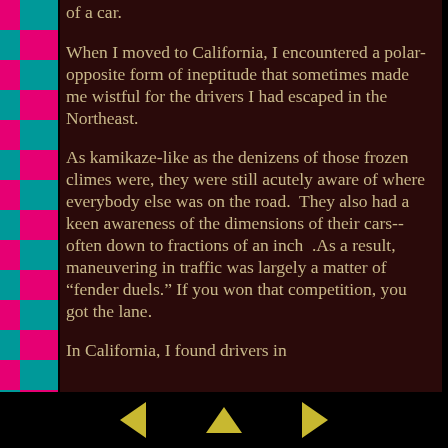of a car.
When I moved to California, I encountered a polar-opposite form of ineptitude that sometimes made me wistful for the drivers I had escaped in the Northeast.
As kamikaze-like as the denizens of those frozen climes were, they were still acutely aware of where everybody else was on the road.  They also had a keen awareness of the dimensions of their cars--often down to fractions of an inch  .As a result, maneuvering in traffic was largely a matter of “fender duels.” If you won that competition, you got the lane.
In California, I found drivers in